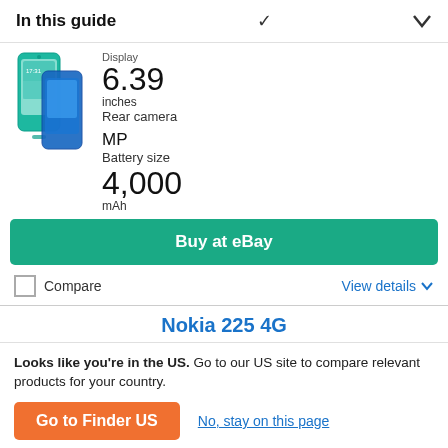In this guide
Display
6.39 inches
Rear camera
MP
Battery size
4,000 mAh
Buy at eBay
Compare
View details
Nokia 225 4G
[Figure (other): Star rating: 2.5 out of 5 stars with info icon]
[Figure (photo): Nokia 225 4G phone in black and gold colors, partially visible]
Looks like you're in the US. Go to our US site to compare relevant products for your country.
Go to Finder US
No, stay on this page